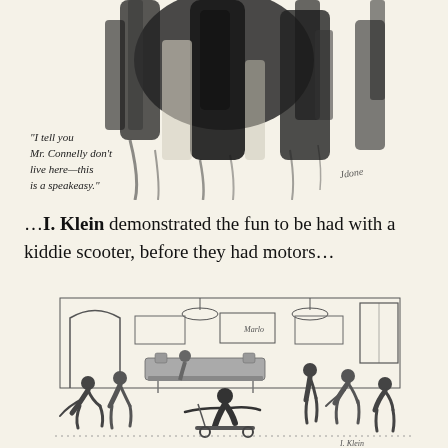[Figure (illustration): A dark, expressionistic ink illustration showing shadowy figures at a doorway, suggesting a speakeasy scene. Artist signature visible in lower right.]
“I tell you Mr. Connelly don’t live here—this is a speakeasy.”
…I. Klein demonstrated the fun to be had with a kiddie scooter, before they had motors…
[Figure (illustration): A pen-and-ink cartoon illustration showing an interior scene of what appears to be a department store or showroom. Several men in suits watch as a man rides a small kiddie scooter dramatically across the floor. Artist signed 'I. Klein' in lower right corner.]